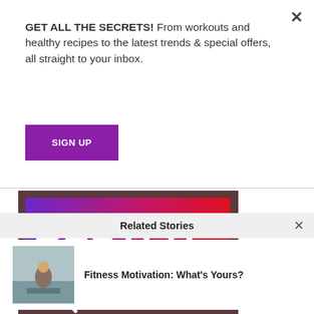GET ALL THE SECRETS! From workouts and healthy recipes to the latest trends & special offers, all straight to your inbox.
SIGN UP
[Figure (illustration): BestFit TV presenter search advertisement banner with purple-to-red gradient logo 'BESTFIT', magnifying glass icon, text 'PRESENTER SEARCH...' and 'BESTFIT TV IS A']
Related Stories
Fitness Motivation: What's Yours?